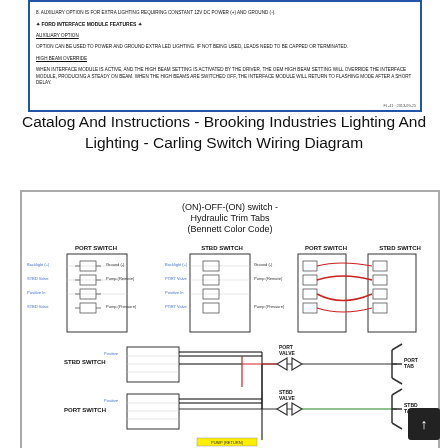[Figure (schematic): Ford Interface Module features diagram showing auxiliary option and high beam override text in a blue-bordered box]
Catalog And Instructions - Brooking Industries Lighting And Lighting - Carling Switch Wiring Diagram
[Figure (schematic): Wiring diagram for (ON)-OFF-(ON) switch - Hydraulic Trim Tabs (Bennett Color Code), showing PORT SWITCH and STBD SWITCH connections with wiring to PORT VALVE, STBD VALVE, PORT TAB, and STBD TAB components]